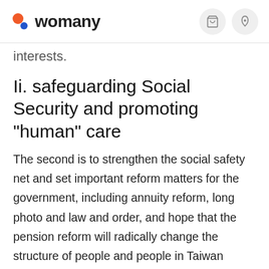womany
interests.
Ii. safeguarding Social Security and promoting "human" care
The second is to strengthen the social safety net and set important reform matters for the government, including annuity reform, long photo and law and order, and hope that the pension reform will radically change the structure of people and people in Taiwan society through the process of uniting and negotiating with all.
Iii. transformation...